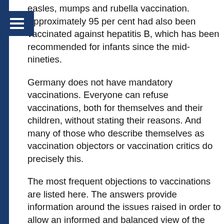whooping cough, polio and had received at least one measles, mumps and rubella vaccination. Approximately 95 per cent had also been vaccinated against hepatitis B, which has been recommended for infants since the mid-nineties.
Germany does not have mandatory vaccinations. Everyone can refuse vaccinations, both for themselves and their children, without stating their reasons. And many of those who describe themselves as vaccination objectors or vaccination critics do precisely this.
The most frequent objections to vaccinations are listed here. The answers provide information around the issues raised in order to allow an informed and balanced view of the benefits of vaccination. The document was
Use of cookies
Cookies help us to provide our services. By using our website you agree that we can use cookies. Read more about our Privacy Policy and visit the following